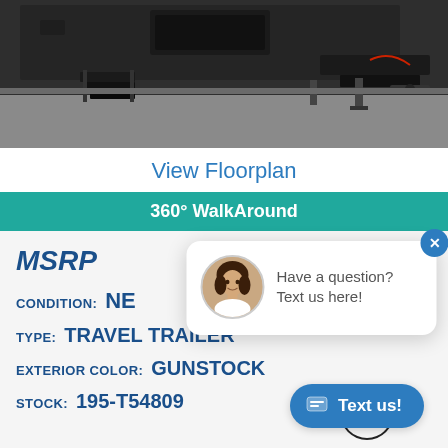[Figure (photo): Photo of a travel trailer/RV hitch and steps area on pavement, dark colored trailer]
View Floorplan
360° WalkAround
MSRP
CONDITION: NEW
TYPE: TRAVEL TRAILER
EXTERIOR COLOR: GUNSTOCK
STOCK: 195-T54809
[Figure (photo): Chat popup with a woman's portrait photo and message: Have a question? Text us here!]
Have a question? Text us here!